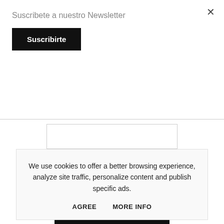Suscribete a nuestro Newsletter
×
Suscribirte
Ref. CDGF
109,95 €
We use cookies to offer a better browsing experience, analyze site traffic, personalize content and publish specific ads.
AGREE
MORE INFO